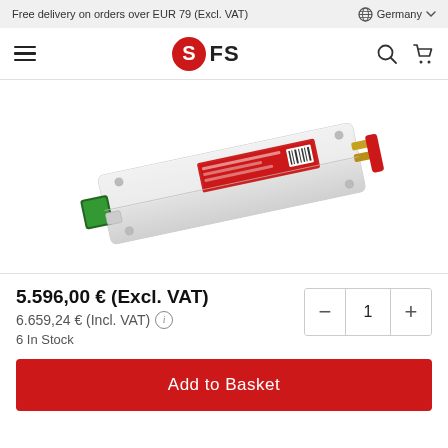Free delivery on orders over EUR 79 (Excl. VAT)   Germany
[Figure (logo): FS.com logo with hamburger menu, search icon, and cart icon in navigation bar]
[Figure (photo): White rectangular network transceiver module (QSFP) with red label, green connector, photographed at an angle on white background]
5.596,00 € (Excl. VAT)
6.659,24 € (Incl. VAT)
6 In Stock
Add to Basket